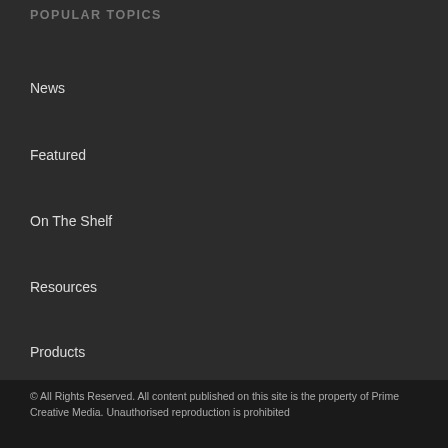POPULAR TOPICS
News
Featured
On The Shelf
Resources
Products
Video
© All Rights Reserved. All content published on this site is the property of Prime Creative Media. Unauthorised reproduction is prohibited